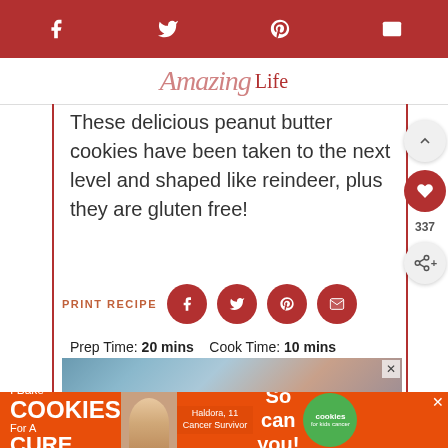Social share icons: facebook, twitter, pinterest, email
Life
These delicious peanut butter cookies have been taken to the next level and shaped like reindeer, plus they are gluten free!
PRINT RECIPE
Prep Time: 20 mins   Cook Time: 10 mins
Total Time: 30 mins   Course: cookies
Cuisine: American   Servings: 18 servings
Calories: 163kcal   Author: Chandice
[Figure (photo): Photo of reindeer-shaped peanut butter cookies, partially visible]
[Figure (other): Advertisement banner: I Bake COOKIES For A CURE - Haldora, 11 Cancer Survivor - So can you! - cookies for kids cancer]